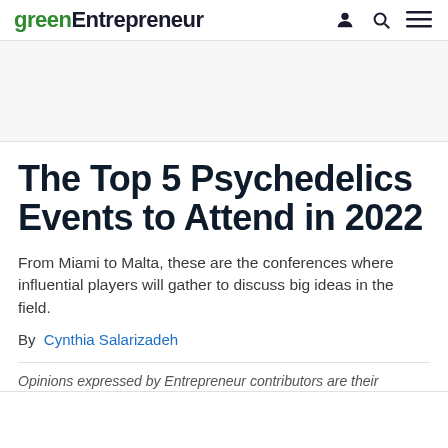greenEntrepreneur
The Top 5 Psychedelics Events to Attend in 2022
From Miami to Malta, these are the conferences where influential players will gather to discuss big ideas in the field.
By Cynthia Salarizadeh
Opinions expressed by Entrepreneur contributors are their